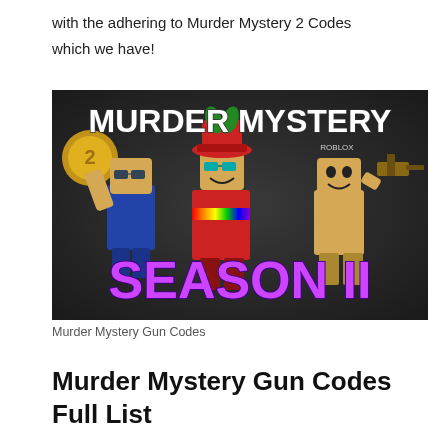with the adhering to Murder Mystery 2 Codes which we have!
[Figure (illustration): Murder Mystery Season II Roblox game promotional image showing three blocky Roblox characters on a dark background with the text 'MURDER MYSTERY' at the top in white bold font and 'SEASON II' at the bottom in large purple bold font. A gold coin is visible on the left, and a character holds a gun on the right.]
Murder Mystery Gun Codes
Murder Mystery Gun Codes Full List